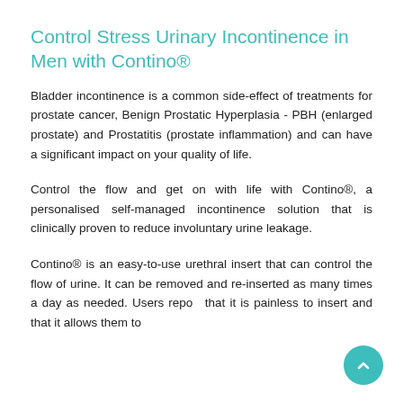Control Stress Urinary Incontinence in Men with Contino®
Bladder incontinence is a common side-effect of treatments for prostate cancer, Benign Prostatic Hyperplasia - PBH (enlarged prostate) and Prostatitis (prostate inflammation) and can have a significant impact on your quality of life.
Control the flow and get on with life with Contino®, a personalised self-managed incontinence solution that is clinically proven to reduce involuntary urine leakage.
Contino® is an easy-to-use urethral insert that can control the flow of urine. It can be removed and re-inserted as many times a day as needed. Users report that it is painless to insert and that it allows them to